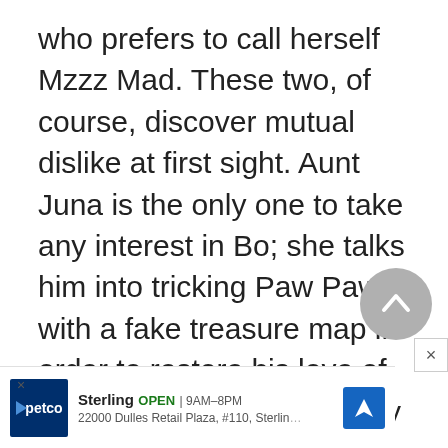who prefers to call herself Mzzz Mad. These two, of course, discover mutual dislike at first sight. Aunt Juna is the only one to take any interest in Bo; she talks him into tricking Paw Paw with a fake treasure map in order to restore his love of life. The map is supposedly one that shows the gold mine that set off the feud between the two sides of the family. But when some modern bandits arrive on the sce... get m... ro
[Figure (other): Scroll-to-top circular button (grey circle with upward chevron icon)]
[Figure (other): Advertisement banner for Petco Sterling store: OPEN 9AM-8PM, 22000 Dulles Retail Plaza, #110, Sterling, with navigation arrow icon]